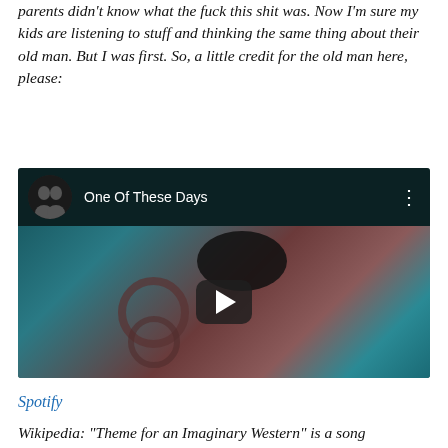parents didn't know what the fuck this shit was. Now I'm sure my kids are listening to stuff and thinking the same thing about their old man. But I was first. So, a little credit for the old man here, please:
[Figure (screenshot): Embedded YouTube video player showing 'One Of These Days' with a teal/dark background and circular abstract imagery. A play button is centered on the video.]
Spotify
Wikipedia: "Theme for an Imaginary Western" is a song